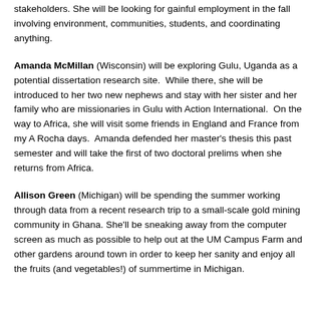thesis, defending, and presenting results to local and statewide stakeholders. She will be looking for gainful employment in the fall involving environment, communities, students, and coordinating anything.
Amanda McMillan (Wisconsin) will be exploring Gulu, Uganda as a potential dissertation research site. While there, she will be introduced to her two new nephews and stay with her sister and her family who are missionaries in Gulu with Action International. On the way to Africa, she will visit some friends in England and France from my A Rocha days. Amanda defended her master's thesis this past semester and will take the first of two doctoral prelims when she returns from Africa.
Allison Green (Michigan) will be spending the summer working through data from a recent research trip to a small-scale gold mining community in Ghana. She'll be sneaking away from the computer screen as much as possible to help out at the UM Campus Farm and other gardens around town in order to keep her sanity and enjoy all the fruits (and vegetables!) of summertime in Michigan.